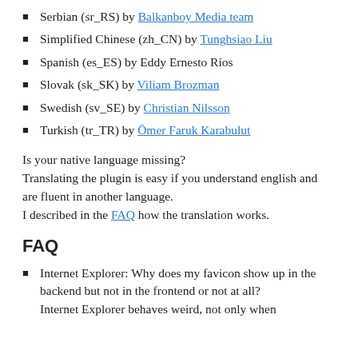Serbian (sr_RS) by Balkanboy Media team
Simplified Chinese (zh_CN) by Tunghsiao Liu
Spanish (es_ES) by Eddy Ernesto Ríos
Slovak (sk_SK) by Viliam Brozman
Swedish (sv_SE) by Christian Nilsson
Turkish (tr_TR) by Ömer Faruk Karabulut
Is your native language missing?
Translating the plugin is easy if you understand english and are fluent in another language.
I described in the FAQ how the translation works.
FAQ
Internet Explorer: Why does my favicon show up in the backend but not in the frontend or not at all?
Internet Explorer behaves weird, not only when